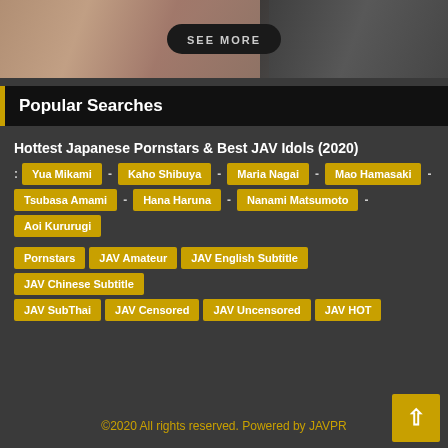[Figure (photo): Top portion of webpage showing blurred/cropped image with a SEE MORE button overlay]
Popular Searches
Hottest Japanese Pornstars & Best JAV Idols (2020)
: Yua Mikami - Kaho Shibuya - Maria Nagai - Mao Hamasaki -
Tsubasa Amami - Hana Haruna - Nanami Matsumoto - Aoi Kururugi
Pornstars  JAV Amateur  JAV English Subtitle  JAV Chinese Subtitle
JAV SubThai  JAV Censored  JAV Uncensored  JAV HOT
©2020 All rights reserved. Powered by JAVPR...